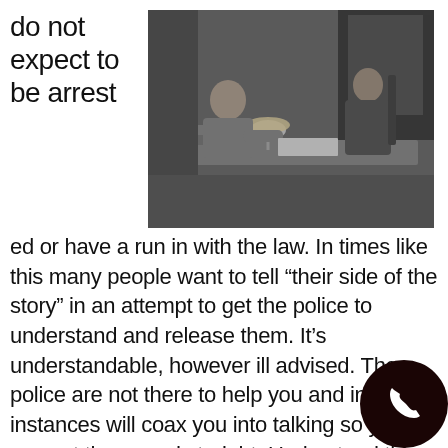do not expect to be arrested or have a run in with the law.  In times like this many people want to tell “their side of the story” in an attempt to get the police to understand and release them.  It’s understandable, however ill advised.  The police are not there to help you and in many instances will coax you into talking so you can set the record straight.  Understand this, the police are not there to help you.  The job of the police is to get a conf during your interview, even if that means the
[Figure (photo): Black and white photograph of a police interrogation scene: two people sit across a table, one appears to be an officer or interrogator leaning forward, the other is seated across. A lamp is visible on the table. The scene is reminiscent of a 1950s-60s interrogation room setting.]